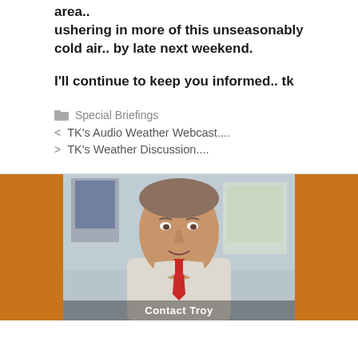area..
ushering in more of this unseasonably cold air.. by late next weekend.
I'll continue to keep you informed..  tk
Special Briefings
< TK's Audio Weather Webcast....
> TK's Weather Discussion....
[Figure (photo): Photo of a man in a white shirt and red tie sitting at a desk in an office/newsroom setting. The bottom of the image shows partial text 'Contact Troy'.]